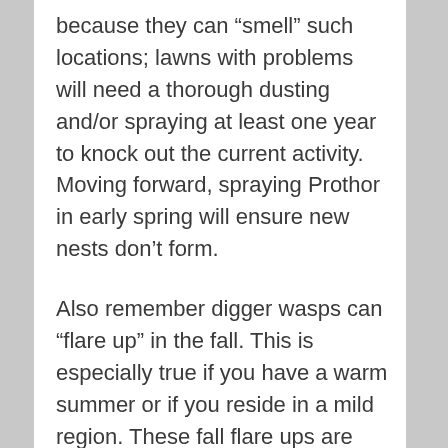because they can “smell” such locations; lawns with problems will need a thorough dusting and/or spraying at least one year to knock out the current activity. Moving forward, spraying Prothor in early spring will ensure new nests don’t form.
Also remember digger wasps can “flare up” in the fall. This is especially true if you have a warm summer or if you reside in a mild region. These fall flare ups are related to hatches deep down in the ground as a direct result of early spring egg laying. So if you notice some coming back in the fall, get out there